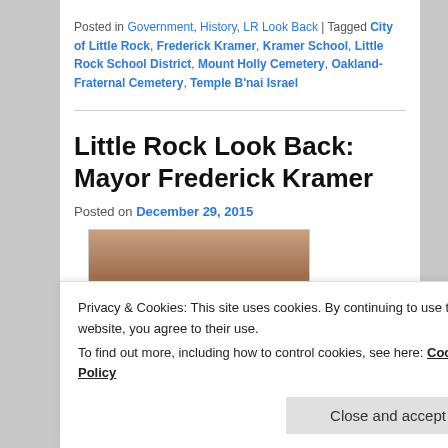Posted in Government, History, LR Look Back | Tagged City of Little Rock, Frederick Kramer, Kramer School, Little Rock School District, Mount Holly Cemetery, Oakland-Fraternal Cemetery, Temple B'nai Israel
Little Rock Look Back: Mayor Frederick Kramer
Posted on December 29, 2015
[Figure (photo): Partial photo of Mayor Frederick Kramer, partially obscured by cookie consent banner]
Privacy & Cookies: This site uses cookies. By continuing to use this website, you agree to their use. To find out more, including how to control cookies, see here: Cookie Policy